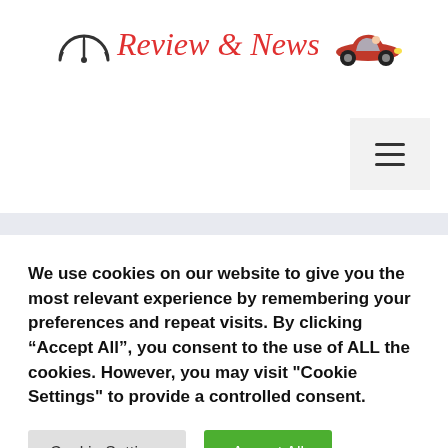[Figure (logo): Car Review & News logo with speedometer icon, cursive red text 'Review & News', and a red classic car illustration]
[Figure (other): Hamburger menu button icon (three horizontal lines) on a light gray square background]
We use cookies on our website to give you the most relevant experience by remembering your preferences and repeat visits. By clicking “Accept All”, you consent to the use of ALL the cookies. However, you may visit "Cookie Settings" to provide a controlled consent.
Cookie Settings   Accept All